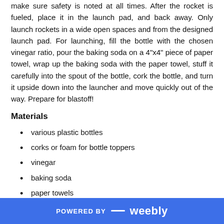make sure safety is noted at all times. After the rocket is fueled, place it in the launch pad, and back away. Only launch rockets in a wide open spaces and from the designed launch pad. For launching, fill the bottle with the chosen vinegar ratio, pour the baking soda on a 4"x4" piece of paper towel, wrap up the baking soda with the paper towel, stuff it carefully into the spout of the bottle, cork the bottle, and turn it upside down into the launcher and move quickly out of the way. Prepare for blastoff!
Materials
various plastic bottles
corks or foam for bottle toppers
vinegar
baking soda
paper towels
POWERED BY weebly